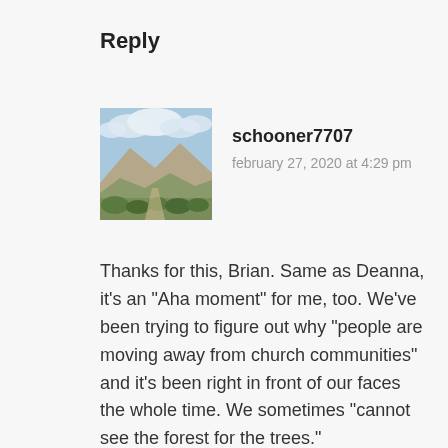Reply
schooner7707
february 27, 2020 at 4:29 pm
[Figure (photo): Landscape photo showing rocky hills or mountains with green shrubs and a cloudy sky]
Thanks for this, Brian. Same as Deanna, it’s an “Aha moment” for me, too. We’ve been trying to figure out why “people are moving away from church communities” and it’s been right in front of our faces the whole time. We sometimes “cannot see the forest for the trees.” I worked in the corporate world for over 30 years and in the last two or three years I was there, the term “unconscious bias” was coming up in conversations, especially where related to race and gender. Applying it to our church